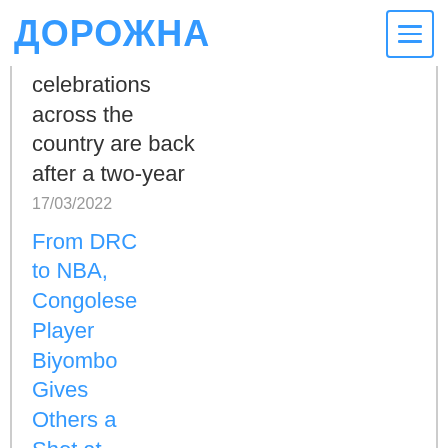ДОРОЖНА
celebrations across the country are back after a two-year
17/03/2022
From DRC to NBA, Congolese Player Biyombo Gives Others a Shot at Better Life
Growing up in the